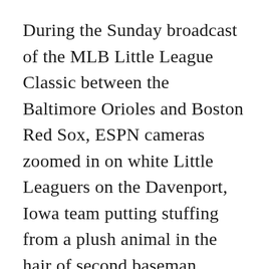During the Sunday broadcast of the MLB Little League Classic between the Baltimore Orioles and Boston Red Sox, ESPN cameras zoomed in on white Little Leaguers on the Davenport, Iowa team putting stuffing from a plush animal in the hair of second baseman Jeremiah Grise, who is black. This immediately triggered a full-throated cry of racism from the professional race-baiter, because, as you know, this is a racist